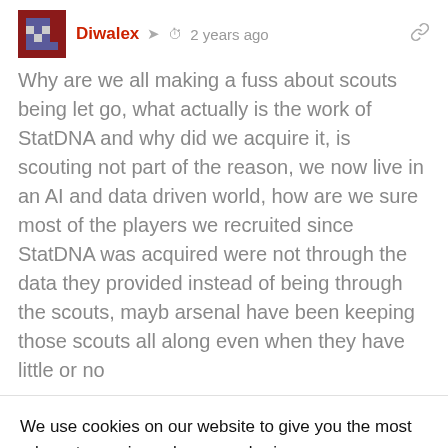Diwalex  2 years ago
Why are we all making a fuss about scouts being let go, what actually is the work of StatDNA and why did we acquire it, is scouting not part of the reason, we now live in an AI and data driven world, how are we sure most of the players we recruited since StatDNA was acquired were not through the data they provided instead of being through the scouts, mayb arsenal have been keeping those scouts all along even when they have little or no
We use cookies on our website to give you the most relevant experience by remembering your preferences and repeat visits. By clicking "Accept All", you consent to the use of ALL the cookies. However, you may visit "Cookie Settings" to provide a controlled consent.
Cookie Settings
Accept All